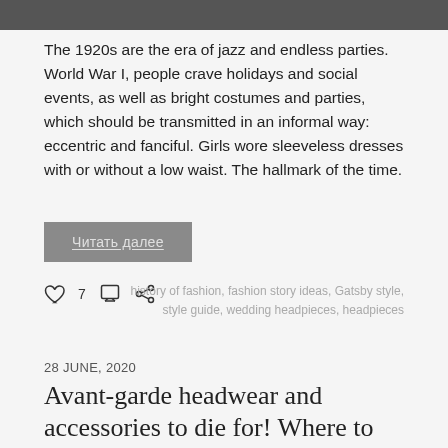[Figure (photo): Partial photograph strip at the top of the page showing people, cropped]
The 1920s are the era of jazz and endless parties. World War I, people crave holidays and social events, as well as bright costumes and parties, which should be transmitted in an informal way: eccentric and fanciful. Girls wore sleeveless dresses with or without a low waist. The hallmark of the time.
Читать далее
♡ 7
history of fashion, fashion story ideas, Gatsby style, style guide, wedding headpieces, headpieces
28 JUNE, 2020
Avant-garde headwear and accessories to die for! Where to wear them to?